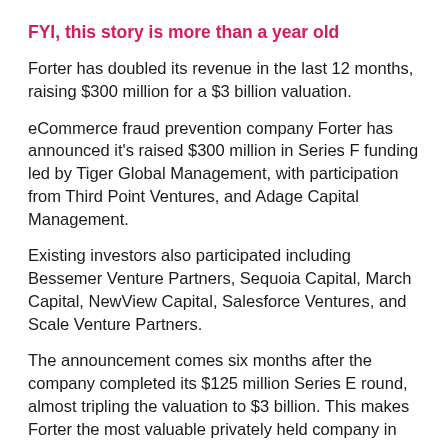FYI, this story is more than a year old
Forter has doubled its revenue in the last 12 months, raising $300 million for a $3 billion valuation.
eCommerce fraud prevention company Forter has announced it’s raised $300 million in Series F funding led by Tiger Global Management, with participation from Third Point Ventures, and Adage Capital Management.
Existing investors also participated including Bessemer Venture Partners, Sequoia Capital, March Capital, NewView Capital, Salesforce Ventures, and Scale Venture Partners.
The announcement comes six months after the company completed its $125 million Series E round, almost tripling the valuation to $3 billion. This makes Forter the most valuable privately held company in